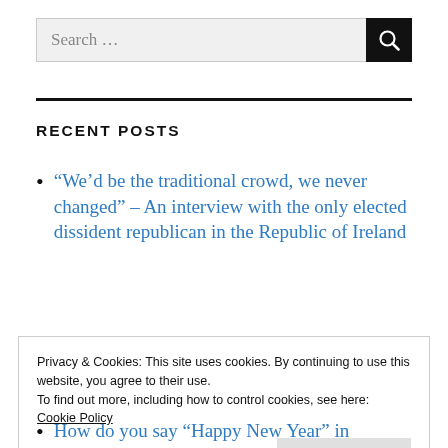Search …
RECENT POSTS
“We’d be the traditional crowd, we never changed” – An interview with the only elected dissident republican in the Republic of Ireland
Privacy & Cookies: This site uses cookies. By continuing to use this website, you agree to their use.
To find out more, including how to control cookies, see here:
Cookie Policy
Close and accept
How do you say “Happy New Year” in